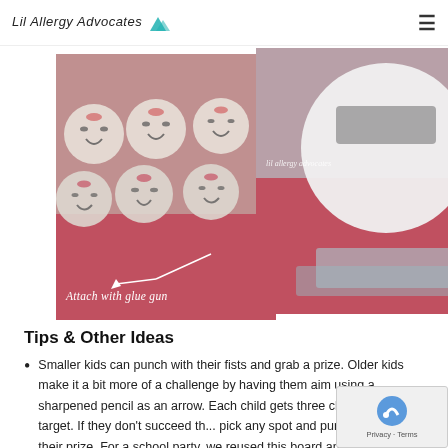Lil Allergy Advocates
[Figure (photo): Photo of multiple small mason jars decorated with emoji-style smiley faces on lids, arranged on a red surface. Caption reads 'Attach with glue gun' with an arrow.]
[Figure (photo): Close-up photo of a white paper plate with a grey rectangle drawn on it, placed on a red surface with tissue paper visible. Watermark reads 'lil allergy advocates'.]
Tips & Other Ideas
Smaller kids can punch with their fists and grab a prize. Older kids make it a bit more of a challenge by having them aim using a sharpened pencil as an arrow. Each child gets three chances to hit a target. If they don't succeed th... pick any spot and punch through for their prize. For a school party, we reused this board and let the kids sh...